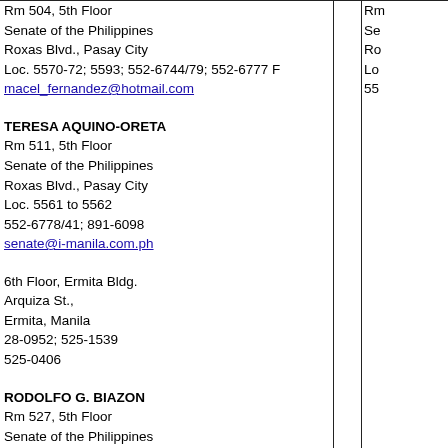Rm 504, 5th Floor
Senate of the Philippines
Roxas Blvd., Pasay City
Loc. 5570-72; 5593; 552-6744/79; 552-6777 F
macel_fernandez@hotmail.com
TERESA AQUINO-ORETA
Rm 511, 5th Floor
Senate of the Philippines
Roxas Blvd., Pasay City
Loc. 5561 to 5562
552-6778/41; 891-6098
senate@i-manila.com.ph
6th Floor, Ermita Bldg.
Arquiza St.,
Ermita, Manila
28-0952; 525-1539
525-0406
RODOLFO G. BIAZON
Rm 527, 5th Floor
Senate of the Philippines
Roxas Blvd., Pasay City
Loc. 5528; 5579
552-6772; 552-6896
551-7343 TF
biazon@ufinc.com
Rm
Se
Ro
Lo
55